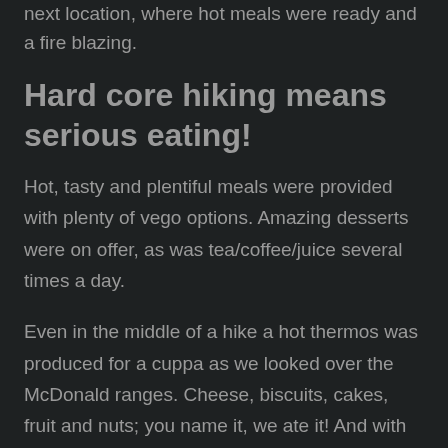next location, where hot meals were ready and a fire blazing.
Hard core hiking means serious eating!
Hot, tasty and plentiful meals were provided with plenty of vego options. Amazing desserts were on offer, as was tea/coffee/juice several times a day.
Even in the middle of a hike a hot thermos was produced for a cuppa as we looked over the McDonald ranges. Cheese, biscuits, cakes, fruit and nuts; you name it, we ate it! And with the most